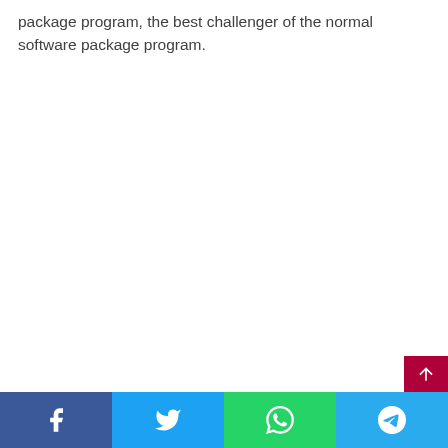package program, the best challenger of the normal software package program.
Share buttons: Facebook, Twitter, WhatsApp, Telegram